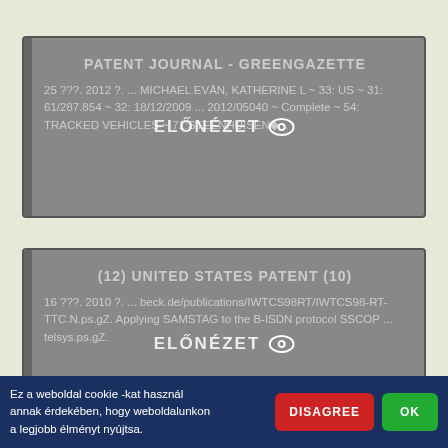[Figure (screenshot): Search result card 1: Patent Journal - GreenGazette entry with preview overlay]
[Figure (screenshot): Search result card 2: United States Patent (10) entry with preview overlay]
[Figure (screenshot): Partial third search result card, partially covered by cookie banner]
Ez a weboldal cookie -kat használ annak érdekében, hogy weboldalunkon a legjobb élményt nyújtsa.